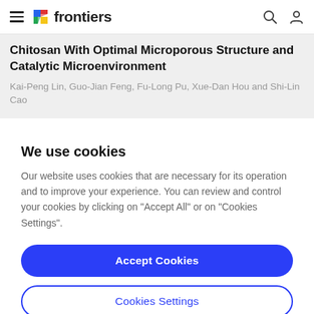frontiers — navigation bar with hamburger menu, logo, search and user icons
Chitosan With Optimal Microporous Structure and Catalytic Microenvironment
Kai-Peng Lin, Guo-Jian Feng, Fu-Long Pu, Xue-Dan Hou and Shi-Lin Cao
We use cookies
Our website uses cookies that are necessary for its operation and to improve your experience. You can review and control your cookies by clicking on "Accept All" or on "Cookies Settings".
Accept Cookies
Cookies Settings